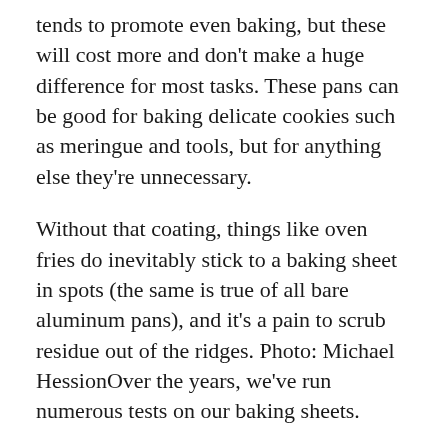…tends to promote even baking, but these will cost more and don't make a huge difference for most tasks. These pans can be good for baking delicate cookies such as meringue and tools, but for anything else they're unnecessary.
Without that coating, things like oven fries do inevitably stick to a baking sheet in spots (the same is true of all bare aluminum pans), and it's a pain to scrub residue out of the ridges. Photo: Michael HessionOver the years, we've run numerous tests on our baking sheets.
For the most part, each test helped us evaluate one of two things: how durable a pan is, and how evenly it bakes. To test the latter, we always bake cookies, because they require some precision and are quick to show hot spots.
In 2013, we also baked sturdy slice-and-bake